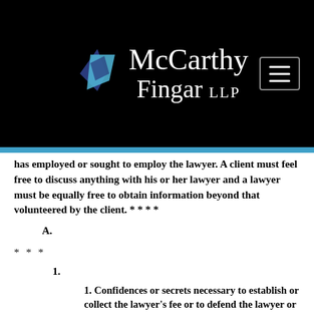McCarthy Fingar LLP
has employed or sought to employ the lawyer. A client must feel free to discuss anything with his or her lawyer and a lawyer must be equally free to obtain information beyond that volunteered by the client. * * * *
A.
* * *
1.
1. Confidences or secrets necessary to establish or collect the lawyer's fee or to defend the lawyer or his